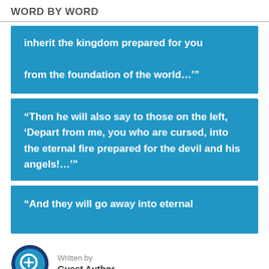WORD BY WORD
inherit the kingdom prepared for you from the foundation of the world…'"
"Then he will also say to those on the left, 'Depart from me, you who are cursed, into the eternal fire prepared for the devil and his angels!…'"
"And they will go away into eternal
Written by
Guest Author